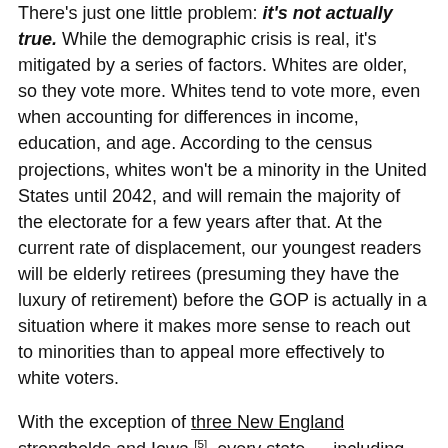There's just one little problem: it's not actually true. While the demographic crisis is real, it's mitigated by a series of factors. Whites are older, so they vote more. Whites tend to vote more, even when accounting for differences in income, education, and age. According to the census projections, whites won't be a minority in the United States until 2042, and will remain the majority of the electorate for a few years after that. At the current rate of displacement, our youngest readers will be elderly retirees (presuming they have the luxury of retirement) before the GOP is actually in a situation where it makes more sense to reach out to minorities than to appeal more effectively to white voters.
With the exception of three New England strongholds and Iowa [5], every state — including the overwhelming majority of Northern states — the White voters who voted favored Mitt Romney. Problem is, Whites stayed home. According to RCP's The Case of the Missing White Voters [6] . . .
[T]he 2012 elections actually weren't about a demographic explosion with non-white voters. Instead, they were about a